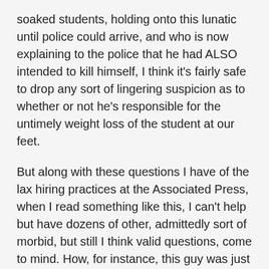soaked students, holding onto this lunatic until police could arrive, and who is now explaining to the police that he had ALSO intended to kill himself, I think it's fairly safe to drop any sort of lingering suspicion as to whether or not he's responsible for the untimely weight loss of the student at our feet.
But along with these questions I have of the lax hiring practices at the Associated Press, when I read something like this, I can't help but have dozens of other, admittedly sort of morbid, but still I think valid questions, come to mind. How, for instance, this guy was just able to waltz onto this campus, what ever size it was, with a ceremonial knife and slicin' on his mind. I realize this isn't metal detector high school like we have here in America, but still, a guy with a special blade should draw some kind of attention. Or how this guy running around the halls with a commemorative sword was able to walk right up to this